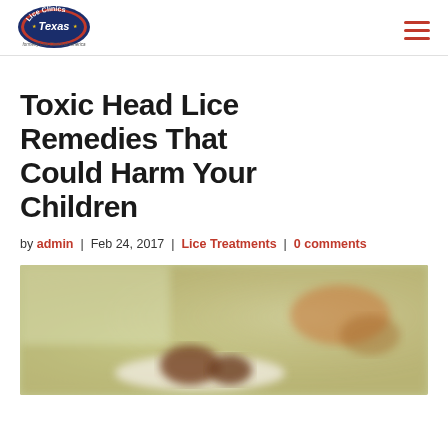[Figure (logo): Lice Clinics of Texas logo (formerly Lice Clinics of America), circular badge design with red and blue text]
Toxic Head Lice Remedies That Could Harm Your Children
by admin | Feb 24, 2017 | Lice Treatments | 0 comments
[Figure (photo): Blurred close-up photo of food items (chocolate truffles/small baked goods) on a white plate, with blurred background]